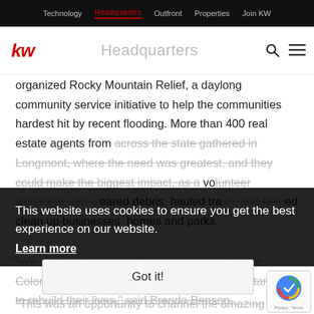Technology | Headquarters | Outfront | Properties | Join KW
kw Headquarters
organized Rocky Mountain Relief, a daylong community service initiative to help the communities hardest hit by recent flooding. More than 400 real estate agents from across the state gathered in Longmont, where the need was greatest, and they could make the biggest impact, as a volunteer workforce that cleared debris, hauled trash, and helped clean up businesses, homes and parks.
This website uses cookies to ensure you get the best experience on our website. Learn more
Got it!
"We wanted to help our friends and neighbors in Colorado recover from this natural disaster and start to rebuild their lives," said Brenda Benson, regional director for Colorado.
"This was an opportunity to channel the amazing culture we